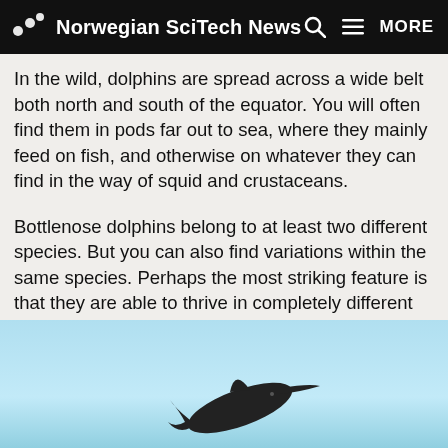Norwegian SciTech News
In the wild, dolphins are spread across a wide belt both north and south of the equator. You will often find them in pods far out to sea, where they mainly feed on fish, and otherwise on whatever they can find in the way of squid and crustaceans.
Bottlenose dolphins belong to at least two different species. But you can also find variations within the same species. Perhaps the most striking feature is that they are able to thrive in completely different environments.
[Figure (photo): A dolphin photographed jumping or swimming against a light blue sky background]